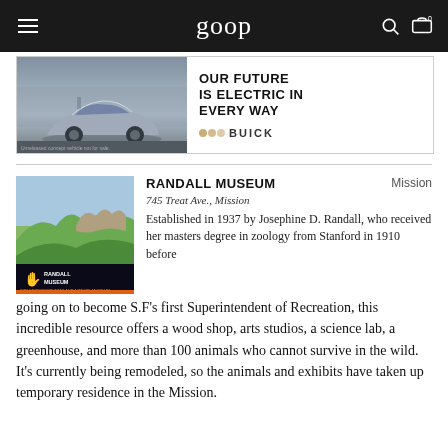goop
[Figure (photo): Buick advertisement showing a silver electric concept car with text 'OUR FUTURE IS ELECTRIC IN EVERY WAY' and Buick logo]
[Figure (photo): Randall Museum exterior showing green hillside with museum sign featuring a red handprint logo]
RANDALL MUSEUM    Mission
745 Treat Ave., Mission
Established in 1937 by Josephine D. Randall, who received her masters degree in zoology from Stanford in 1910 before going on to become S.F's first Superintendent of Recreation, this incredible resource offers a wood shop, arts studios, a science lab, a greenhouse, and more than 100 animals who cannot survive in the wild. It's currently being remodeled, so the animals and exhibits have taken up temporary residence in the Mission.